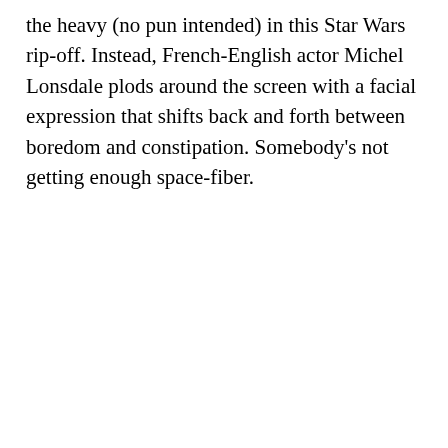the heavy (no pun intended) in this Star Wars rip-off. Instead, French-English actor Michel Lonsdale plods around the screen with a facial expression that shifts back and forth between boredom and constipation. Somebody's not getting enough space-fiber.